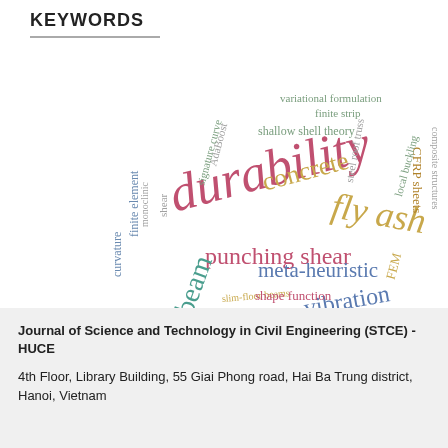KEYWORDS
[Figure (infographic): Word cloud of engineering keywords including: durability, fly ash, punching shear, concrete, free vibration, meta-heuristic, vibration, beam, CFRP sheets, composite structures, finite element, curvature, monoclinic, shear, AdaBoost, signature curve, steel roof truss, local buckling, variational formulation, finite strip, shallow shell theory, strength, accuracy, ductility, DEM, stub columns, mix design, FEM, shape function, rotating Timoshenko beam, slim-floor beams]
Journal of Science and Technology in Civil Engineering (STCE) - HUCE
4th Floor, Library Building, 55 Giai Phong road, Hai Ba Trung district, Hanoi, Vietnam